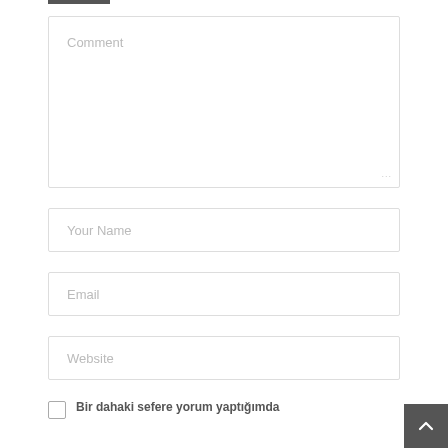[Figure (screenshot): Comment textarea input field with placeholder text 'Comment' and resize handle at bottom right]
[Figure (screenshot): Text input field with placeholder text 'Your Name']
[Figure (screenshot): Text input field with placeholder text 'Email']
[Figure (screenshot): Text input field with placeholder text 'Website']
Bir dahaki sefere yorum yaptığımda
[Figure (screenshot): Scroll-to-top button (dark grey square with up chevron arrow)]